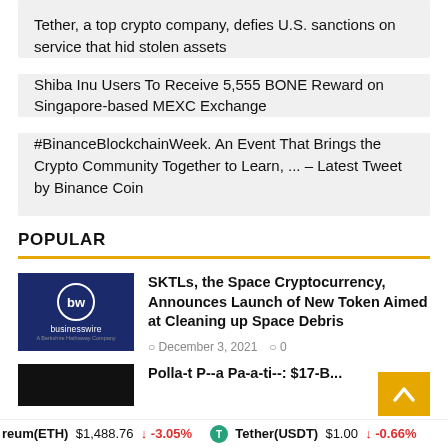Tether, a top crypto company, defies U.S. sanctions on service that hid stolen assets
Shiba Inu Users To Receive 5,555 BONE Reward on Singapore-based MEXC Exchange
#BinanceBlockchainWeek. An Event That Brings the Crypto Community Together to Learn, ... – Latest Tweet by Binance Coin
POPULAR
SKTLs, the Space Cryptocurrency, Announces Launch of New Token Aimed at Cleaning up Space Debris
December 3, 2021   0
[Figure (logo): BusinessWire logo on dark blue background]
reum(ETH) $1,488.76 ↓ -3.05%   Tether(USDT) $1.00 ↓ -0.66%